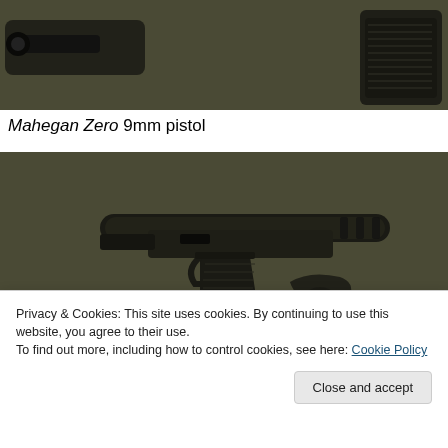[Figure (photo): Top portion of a 3D render of pistol parts on olive/dark green background - showing gun components including barrel and grip sections]
Mahegan Zero 9mm pistol
[Figure (photo): 3D render of a Mahegan Zero 9mm pistol with suppressor/silencer attached, shown from multiple angles on olive/dark green background. Main view shows full side profile with long suppressor; smaller views show disassembled parts and different angles.]
Privacy & Cookies: This site uses cookies. By continuing to use this website, you agree to their use.
To find out more, including how to control cookies, see here: Cookie Policy